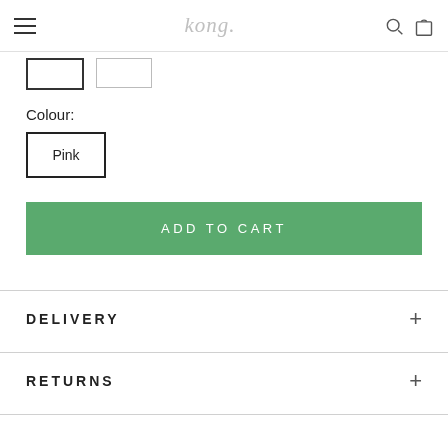kong.
Colour:
Pink
ADD TO CART
DELIVERY
RETURNS